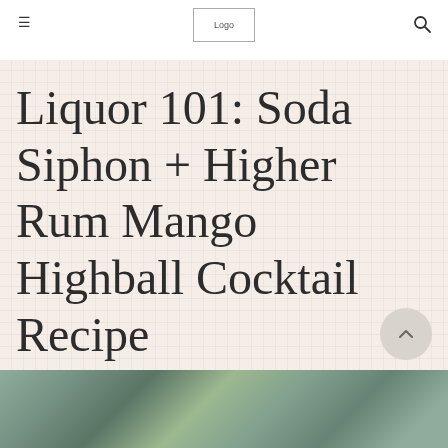Logo [menu icon] [search icon]
Liquor 101: Soda Siphon + Higher Rum Mango Highball Cocktail Recipe
[Figure (photo): Bottom strip showing a cocktail or food photo with green/teal tones]